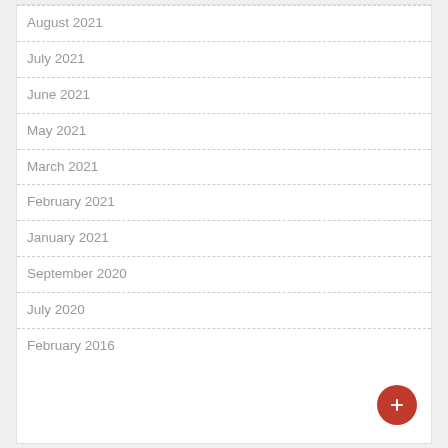August 2021
July 2021
June 2021
May 2021
March 2021
February 2021
January 2021
September 2020
July 2020
February 2016